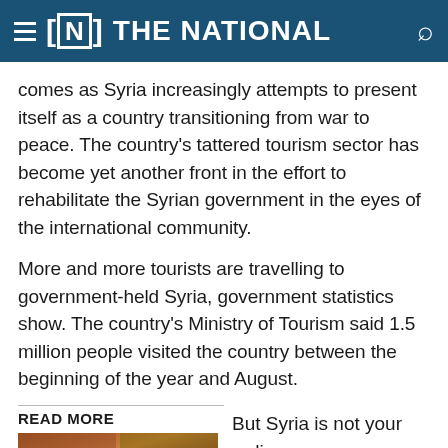THE NATIONAL
comes as Syria increasingly attempts to present itself as a country transitioning from war to peace. The country's tattered tourism sector has become yet another front in the effort to rehabilitate the Syrian government in the eyes of the international community.
More and more tourists are travelling to government-held Syria, government statistics show. The country's Ministry of Tourism said 1.5 million people visited the country between the beginning of the year and August.
READ MORE
[Figure (photo): Photo thumbnail under READ MORE section]
But Syria is not your ordinary